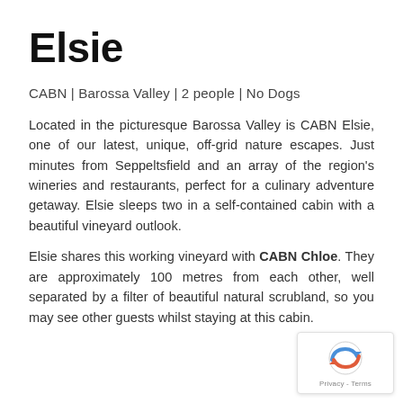Elsie
CABN | Barossa Valley | 2 people | No Dogs
Located in the picturesque Barossa Valley is CABN Elsie, one of our latest, unique, off-grid nature escapes. Just minutes from Seppeltsfield and an array of the region's wineries and restaurants, perfect for a culinary adventure getaway. Elsie sleeps two in a self-contained cabin with a beautiful vineyard outlook.
Elsie shares this working vineyard with CABN Chloe. They are approximately 100 metres from each other, well separated by a filter of beautiful natural scrubland, so you may see other guests whilst staying at this cabin.
[Figure (logo): reCAPTCHA badge with Privacy and Terms links]